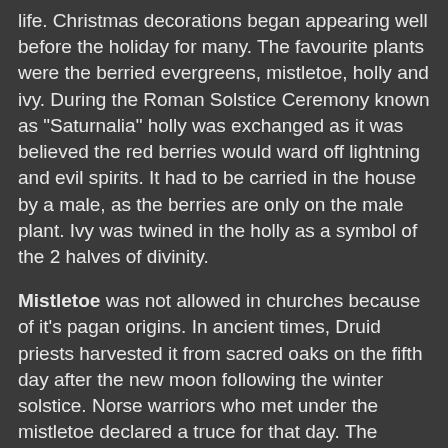life. Christmas decorations began appearing well before the holiday for many.  The favourite plants were the berried evergreens, mistletoe, holly and ivy.  During the Roman Solstice Ceremony known as "Saturnalia" holly was exchanged as it was believed the red berries would ward off lightning and evil spirits.  It had to be carried in the house by a male, as the berries are only on the male plant.  Ivy was twined in the holly as a symbol of the 2 halves of divinity.
Mistletoe was not allowed in churches because of it's pagan origins.  In ancient times, Druid priests harvested it from sacred oaks on the fifth day after the new moon following the winter solstice.  Norse warriors who met under the mistletoe declared a truce for that day.  The Victorians used mistletoe suspended from the ceiling.  Those who met under it could claim a kiss.  The number of kisses allowed under each plant depended on the number of berries.  Each time a kiss was given, a berry was taken off.  No more berries, no more kisses!   In Australia – we improvised!  Without access to English plants, our pioneer's homes used